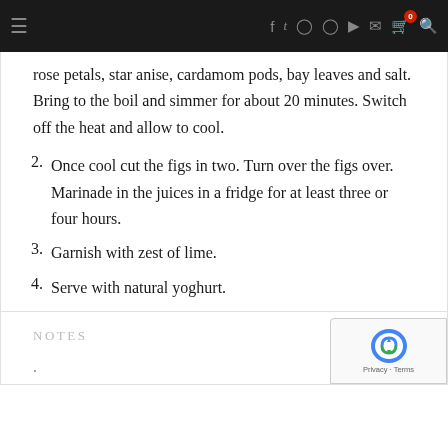≡  f  t  Instagram  Pinterest  YouTube  ✉  🛒  🔍
rose petals, star anise, cardamom pods, bay leaves and salt. Bring to the boil and simmer for about 20 minutes. Switch off the heat and allow to cool.
2. Once cool cut the figs in two. Turn over the figs over. Marinade in the juices in a fridge for at least three or four hours.
3. Garnish with zest of lime.
4. Serve with natural yoghurt.
NOTES
.